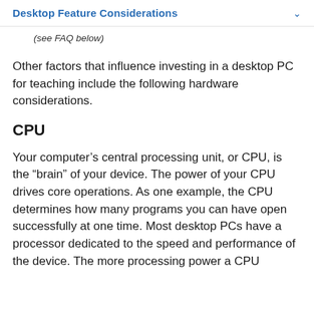Desktop Feature Considerations
(see FAQ below)
Other factors that influence investing in a desktop PC for teaching include the following hardware considerations.
CPU
Your computer’s central processing unit, or CPU, is the “brain” of your device. The power of your CPU drives core operations. As one example, the CPU determines how many programs you can have open successfully at one time. Most desktop PCs have a processor dedicated to the speed and performance of the device. The more processing power a CPU